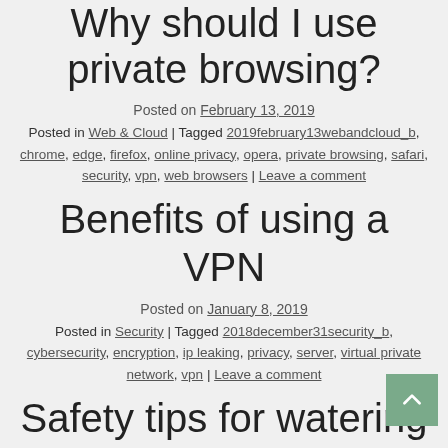Why should I use private browsing?
Posted on February 13, 2019
Posted in Web & Cloud | Tagged 2019february13webandcloud_b, chrome, edge, firefox, online privacy, opera, private browsing, safari, security, vpn, web browsers | Leave a comment
Benefits of using a VPN
Posted on January 8, 2019
Posted in Security | Tagged 2018december31security_b, cybersecurity, encryption, ip leaking, privacy, server, virtual private network, vpn | Leave a comment
Safety tips for watering hole attacks